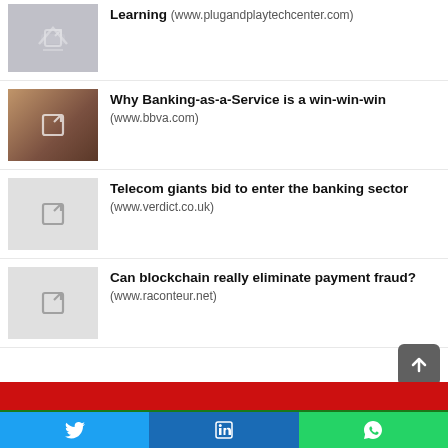Learning (www.plugandplaytechcenter.com)
Why Banking-as-a-Service is a win-win-win (www.bbva.com)
Telecom giants bid to enter the banking sector (www.verdict.co.uk)
Can blockchain really eliminate payment fraud? (www.raconteur.net)
Twitter | LinkedIn | WhatsApp